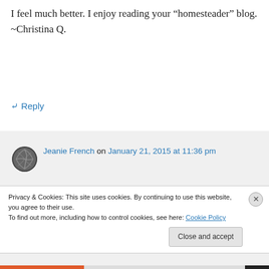I feel much better. I enjoy reading your “homesteader” blog. ~Christina Q.
↳ Reply
Jeanie French on January 21, 2015 at 11:36 pm
Glad you found it, Christina. It’s been almost 2 years mostly gluten-free for me now. I do love this granola both cold in the
Privacy & Cookies: This site uses cookies. By continuing to use this website, you agree to their use.
To find out more, including how to control cookies, see here: Cookie Policy
Close and accept